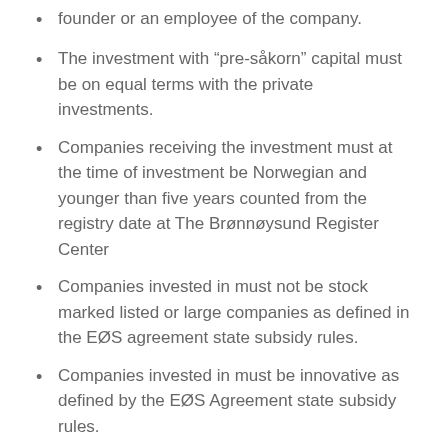founder or an employee of the company.
The investment with “pre-såkorn” capital must be on equal terms with the private investments.
Companies receiving the investment must at the time of investment be Norwegian and younger than five years counted from the registry date at The Brønnøysund Register Center
Companies invested in must not be stock marked listed or large companies as defined in the EØS agreement state subsidy rules.
Companies invested in must be innovative as defined by the EØS Agreement state subsidy rules.
Investments can amount to 3 million NOK.
Be sure that your application contains the